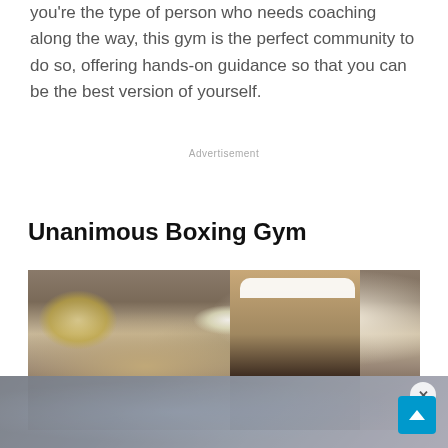you're the type of person who needs coaching along the way, this gym is the perfect community to do so, offering hands-on guidance so that you can be the best version of yourself.
Advertisement
Unanimous Boxing Gym
[Figure (photo): A man wearing a white headband in a boxing gym interior with ceiling lights and chandelier visible in the background]
[Figure (photo): Overlay ad showing a gym scene, partially transparent, with a close button (x) in the top right corner and a scroll-to-top button in the bottom right]